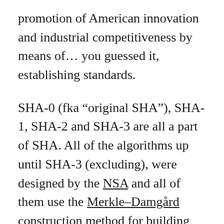promotion of American innovation and industrial competitiveness by means of… you guessed it, establishing standards.
SHA-0 (fka “original SHA”), SHA-1, SHA-2 and SHA-3 are all a part of SHA. All of the algorithms up until SHA-3 (excluding), were designed by the NSA and all of them use the Merkle–Damgård construction method for building collision-resistant hashes (1979). SHA-3 is different, though. Read on.
The Merkle–Damgård construction used in SHA-{0,1,2} builds on one-way compression functions. It takes an initialization vector